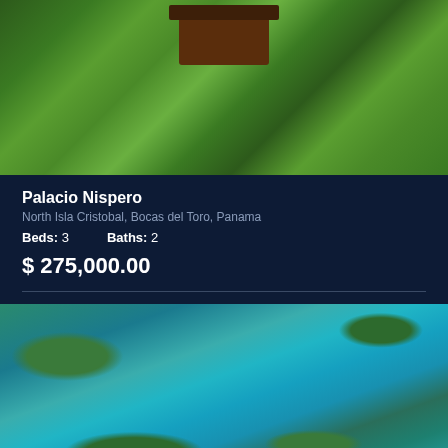[Figure (photo): Aerial drone view of a tropical property with dark wood structure surrounded by dense palm trees and lush green vegetation]
Palacio Nispero
North Isla Cristobal, Bocas del Toro, Panama
Beds: 3    Baths: 2
$ 275,000.00
[Figure (photo): Aerial view of a tropical island lagoon with turquoise water, mangrove islands and shallow reef areas in Bocas del Toro, Panama]